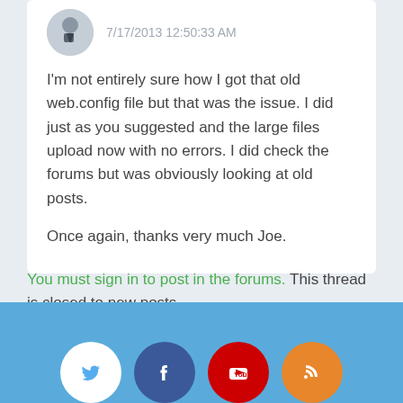7/17/2013 12:50:33 AM
I'm not entirely sure how I got that old web.config file but that was the issue. I did just as you suggested and the large files upload now with no errors. I did check the forums but was obviously looking at old posts.

Once again, thanks very much Joe.
You must sign in to post in the forums. This thread is closed to new posts.
[Figure (infographic): Blue footer bar with social media icons: Twitter (white circle), Facebook (dark blue circle), YouTube (red circle), RSS/share (orange circle), partially visible]